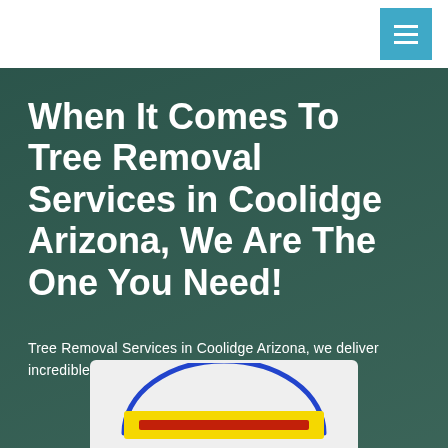When It Comes To Tree Removal Services in Coolidge Arizona, We Are The One You Need!
Tree Removal Services in Coolidge Arizona, we deliver incredible services when it comes to tree removal
[Figure (logo): Company logo with blue arc/circle outline and yellow bar with text below on light grey background]